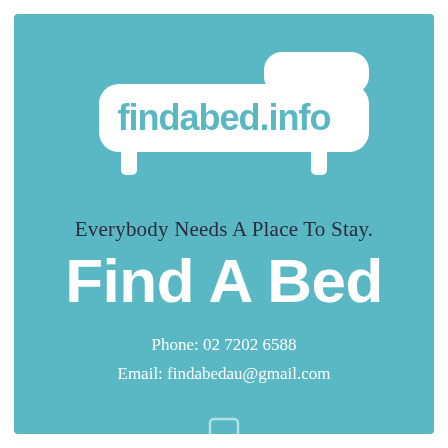[Figure (logo): findabed.info logo — white sofa/bed shape with the text 'findabed.info' in teal inside a white rounded rectangle shape]
Everybody Needs A Place To Stay.
Find A Bed
Phone: 02 7202 6588
Email: findabedau@gmail.com